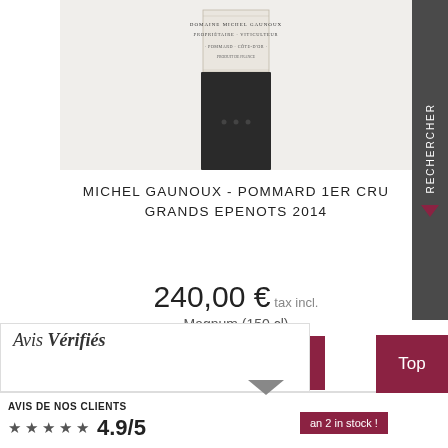[Figure (photo): Wine bottle top showing label for Domaine Michel Gaunoux, Propriétaire Viticulteur, Pommard, Côte d'Or with dark capsule]
MICHEL GAUNOUX - POMMARD 1ER CRU GRANDS EPENOTS 2014
240,00 € tax incl.
Magnum (150 cl)
Qt : 1  Add to cart
In Stock (2)
[Figure (logo): Avis Vérifiés logo]
AVIS DE NOS CLIENTS
★★★★★ 4.9/5
an 2 in stock !
Top